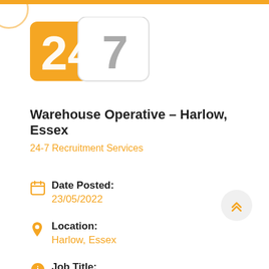[Figure (logo): 24/7 Recruitment Services logo — orange rectangle on left with '24' in white bold text, white rounded rectangle on right with '7' in grey bold text overlapping]
Warehouse Operative - Harlow, Essex
24-7 Recruitment Services
Date Posted: 23/05/2022
Location: Harlow, Essex
Job Title: